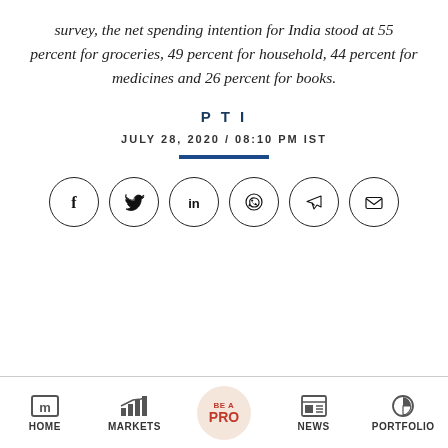survey, the net spending intention for India stood at 55 percent for groceries, 49 percent for household, 44 percent for medicines and 26 percent for books.
PTI
JULY 28, 2020 / 08:10 PM IST
[Figure (other): Social media sharing icons: Facebook, Twitter, LinkedIn, WhatsApp, Telegram, Email]
HOME  MARKETS  BE A PRO  NEWS  PORTFOLIO